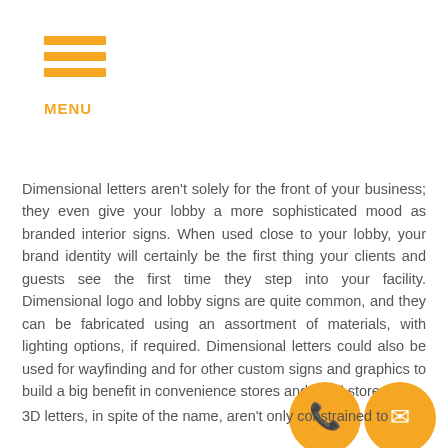MENU
Dimensional letters aren't solely for the front of your business; they even give your lobby a more sophisticated mood as branded interior signs. When used close to your lobby, your brand identity will certainly be the first thing your clients and guests see the first time they step into your facility. Dimensional logo and lobby signs are quite common, and they can be fabricated using an assortment of materials, with lighting options, if required. Dimensional letters could also be used for wayfinding and for other custom signs and graphics to build a big benefit in convenience stores and retail stores.
3D letters, in spite of the name, aren't only constrained to